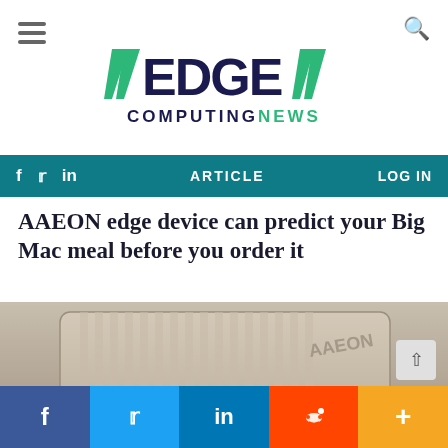EDGE COMPUTING NEWS
AAEON edge device can predict your Big Mac meal before you order it
[Figure (photo): AAEON edge computing device with metal ribbed enclosure, showing front panel with PWR, LAN, USB, HDMI, OS FLASH, and ANT2 ports]
Social share bar: f  Twitter  in  Reddit  +